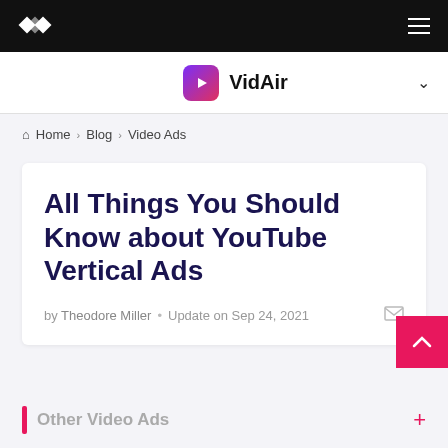VidAir navigation bar with logo and hamburger menu
VidAir product bar with dropdown chevron
Home > Blog > Video Ads
All Things You Should Know about YouTube Vertical Ads
by Theodore Miller • Update on Sep 24, 2021
Other Video Ads